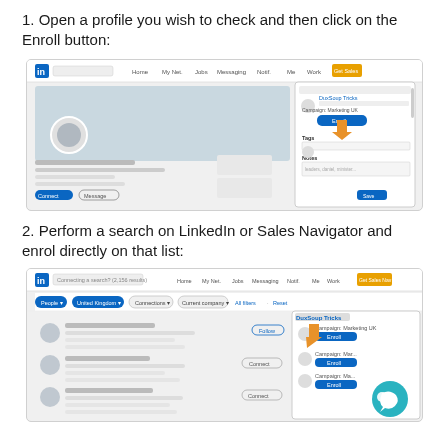1. Open a profile you wish to check and then click on the Enroll button:
[Figure (screenshot): Screenshot of LinkedIn profile page with a popup panel on the right showing 'DuxSoup Tricks', 'Campaign: Marketing UK', an 'Enroll' button highlighted with an orange arrow, 'Tags', and 'Notes' fields.]
2. Perform a search on LinkedIn or Sales Navigator and enrol directly on that list:
[Figure (screenshot): Screenshot of LinkedIn search results page with filters (People, United Kingdom, Connections, Current company, All filters, Reset) and a DuxSoup panel on the right showing 'Campaign: Marketing UK', 'Enroll' button with orange arrow pointing to it, and additional campaign entries below. A teal chat button is visible in the bottom right.]